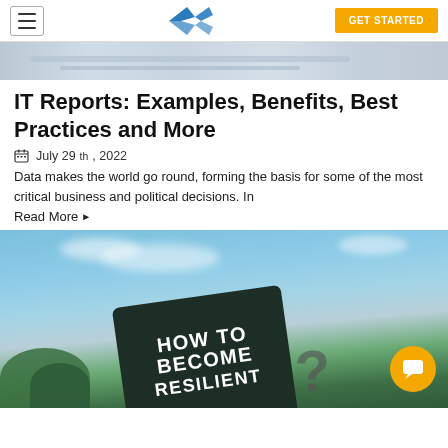GET STARTED
[Figure (photo): Blurred close-up photo of a pen on paper, top hero image]
IT Reports: Examples, Benefits, Best Practices and More
July 29th, 2022
Data makes the world go round, forming the basis for some of the most critical business and political decisions. In
Read More ▶
[Figure (photo): Photo of a sign reading HOW TO BECOME RESILIENT? against a blue sky background with green trees]